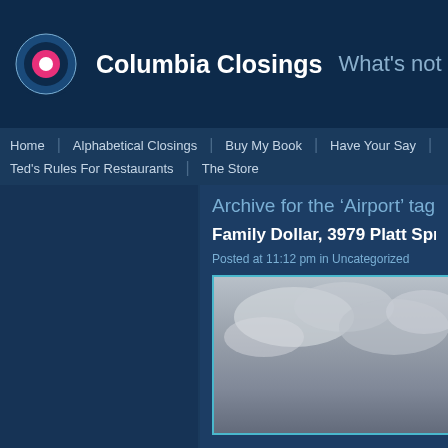Columbia Closings   What's not in Columbia a
Home | Alphabetical Closings | Buy My Book | Have Your Say | Miss | Ted's Rules For Restaurants | The Store
Archive for the ‘Airport’ tag
Family Dollar, 3979 Platt Sprin
Posted at 11:12 pm in Uncategorized
[Figure (photo): Outdoor photo showing a cloudy sky with grey clouds]
Recent Comments